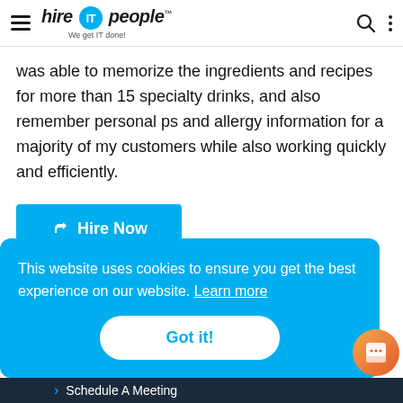hire IT people — We get IT done!
was able to memorize the ingredients and recipes for more than 15 specialty drinks, and also remember personal ps and allergy information for a majority of my customers while also working quickly and efficiently.
Hire Now
Report an issue
This website uses cookies to ensure you get the best experience on our website. Learn more
Got it!
Schedule A Meeting